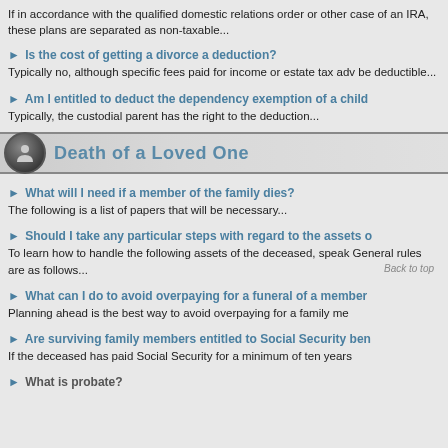If in accordance with the qualified domestic relations order or other case of an IRA, these plans are separated as non-taxable...
Is the cost of getting a divorce a deduction?
Typically no, although specific fees paid for income or estate tax advice be deductible...
Am I entitled to deduct the dependency exemption of a child
Typically, the custodial parent has the right to the deduction...
Death of a Loved One
What will I need if a member of the family dies?
The following is a list of papers that will be necessary...
Should I take any particular steps with regard to the assets o
To learn how to handle the following assets of the deceased, speak General rules are as follows...
What can I do to avoid overpaying for a funeral of a member
Planning ahead is the best way to avoid overpaying for a family me
Are surviving family members entitled to Social Security ben
If the deceased has paid Social Security for a minimum of ten years
What is probate?